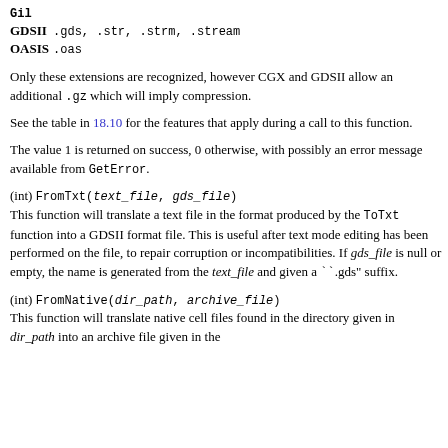| GDSII | .gds, .str, .strm, .stream |
| OASIS | .oas |
Only these extensions are recognized, however CGX and GDSII allow an additional .gz which will imply compression.
See the table in 18.10 for the features that apply during a call to this function.
The value 1 is returned on success, 0 otherwise, with possibly an error message available from GetError.
(int) FromTxt(text_file, gds_file)
This function will translate a text file in the format produced by the ToTxt function into a GDSII format file. This is useful after text mode editing has been performed on the file, to repair corruption or incompatibilities. If gds_file is null or empty, the name is generated from the text_file and given a ``".gds" suffix.
(int) FromNative(dir_path, archive_file)
This function will translate native cell files found in the directory given in dir_path into an archive file given in the